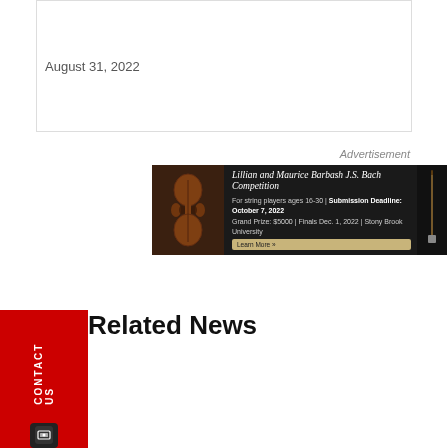August 31, 2022
Advertisement
[Figure (photo): Advertisement banner for Lillian and Maurice Barbash J.S. Bach Competition. For string players ages 16-30. Submission Deadline: October 7, 2022. Grand Prize: $5000. Finals Dec. 1, 2022. Stony Brook University. Learn More button.]
Related News
[Figure (photo): Photo of a smiling woman with brown hair]
[Figure (photo): Photo of a woman with dark hair and gold earrings]